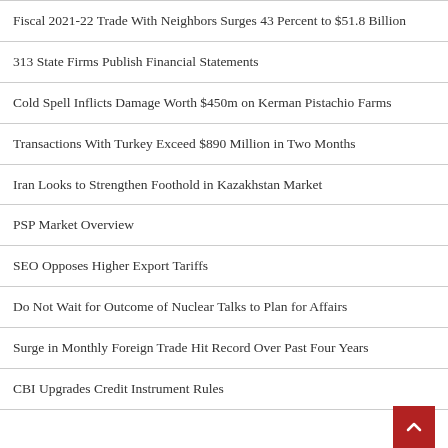Fiscal 2021-22 Trade With Neighbors Surges 43 Percent to $51.8 Billion
313 State Firms Publish Financial Statements
Cold Spell Inflicts Damage Worth $450m on Kerman Pistachio Farms
Transactions With Turkey Exceed $890 Million in Two Months
Iran Looks to Strengthen Foothold in Kazakhstan Market
PSP Market Overview
SEO Opposes Higher Export Tariffs
Do Not Wait for Outcome of Nuclear Talks to Plan for Affairs
Surge in Monthly Foreign Trade Hit Record Over Past Four Years
CBI Upgrades Credit Instrument Rules